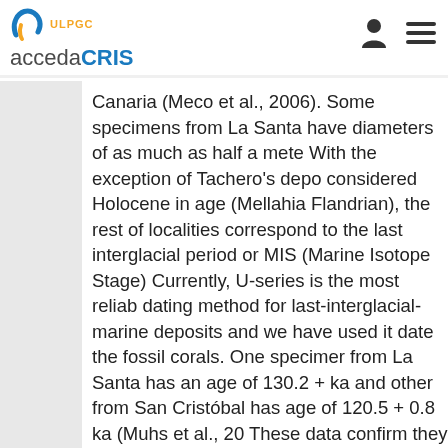ULPGC accedaCRIS
Canaria (Meco et al., 2006). Some specimens from La Santa have diameters of as much as half a meter. With the exception of Tachero's deposits considered Holocene in age (Mellahia Flandrian), the rest of localities correspond to the last interglacial period or MIS (Marine Isotope Stage). Currently, U-series is the most reliable dating method for last-interglacial-age marine deposits and we have used it to date the fossil corals. One specimen from La Santa has an age of 130.2 + ka and other from San Cristo´bal has an age of 120.5 + 0.8 ka (Muhs et al., 20...). These data confirm they belong to MIS 5.5. Outside the Canaries, fossil...